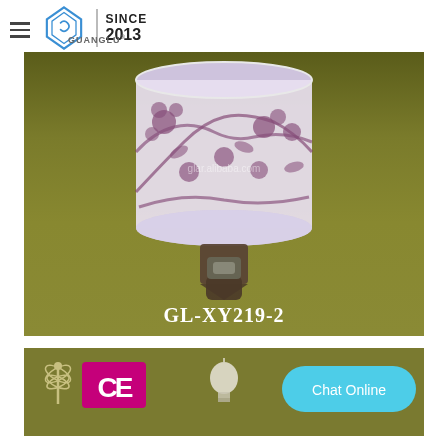GUANGLU SINCE 2013
[Figure (photo): Ceramic night light lamp with purple and white floral pattern on cylindrical shade, mounted on a wall plug base with toggle switch. Product label GL-XY219-2 shown at bottom. Olive/yellow-green background. Watermark: glar.alibaba.com]
[Figure (photo): Bottom banner showing CE certification badge in magenta/pink, dragonfly decoration on left, a light bulb in center, and Chat Online button on right. Olive background.]